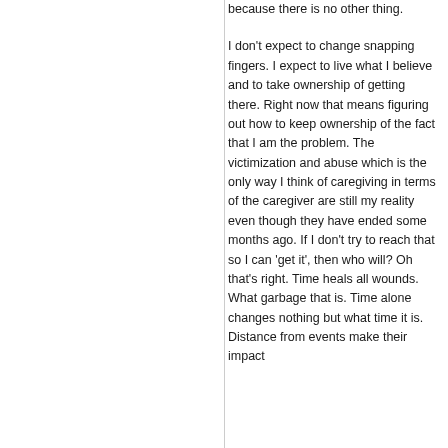because there is no other thing.
I don't expect to change snapping fingers. I expect to live what I believe and to take ownership of getting there. Right now that means figuring out how to keep ownership of the fact that I am the problem. The victimization and abuse which is the only way I think of caregiving in terms of the caregiver are still my reality even though they have ended some months ago. If I don't try to reach that so I can 'get it', then who will? Oh that's right. Time heals all wounds. What garbage that is. Time alone changes nothing but what time it is. Distance from events make their impact